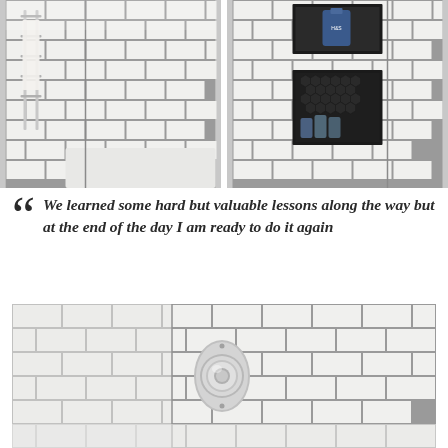[Figure (photo): Bathroom interior with white subway tiles, a chrome heated towel rail with a white towel, and a white bathtub visible in the corner]
[Figure (photo): Close-up of shower niche/recessed shelves in white subway tile wall with black mosaic tile backing, containing shampoo bottles and toiletries, with a Head & Shoulders bottle on top shelf]
“We learned some hard but valuable lessons along the way but at the end of the day I am ready to do it again
[Figure (photo): Shower area with white subway tiles, chrome round thermostatic shower valve/control mounted on wall, white bathtub edge visible at bottom]